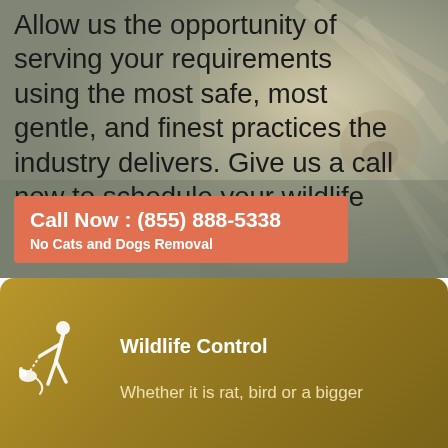[Figure (photo): Blurred background photo of a cat's face close-up, with muted green and grey tones, serving as the background for the top section of the page.]
Allow us the opportunity of serving your requirements using the most safe, most gentle, and finest practices the industry delivers. Give us a call now to schedule your wildlife control in Los Angeles!
Call Now : (855) 888-5338
No Cats and Dogs Removal
[Figure (infographic): Gold/brown gradient card section with a white silhouette icon of a person holding a leash attached to a small animal, representing wildlife control services.]
Wildlife Control
Whether it is rat, bird or a bigger